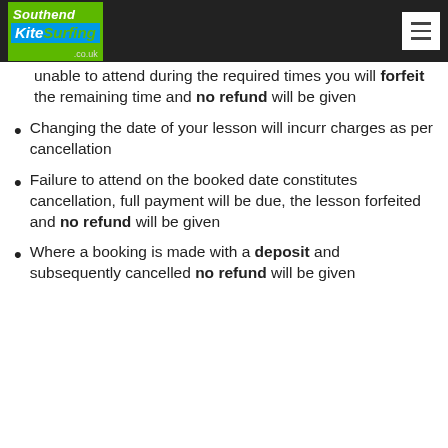Southend KiteSurfing .co.uk
unable to attend during the required times you will forfeit the remaining time and no refund will be given
Changing the date of your lesson will incurr charges as per cancellation
Failure to attend on the booked date constitutes cancellation, full payment will be due, the lesson forfeited and no refund will be given
Where a booking is made with a deposit and subsequently cancelled no refund will be given